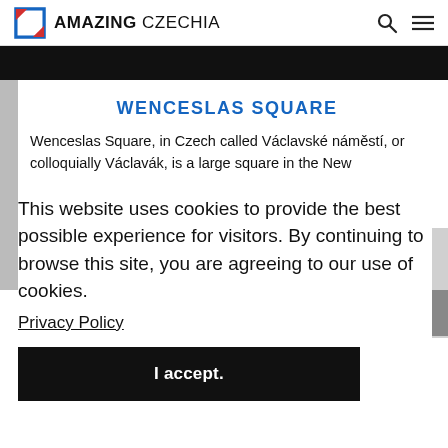AMAZING CZECHIA
WENCESLAS SQUARE
Wenceslas Square, in Czech called Václavské náměstí, or colloquially Václavák, is a large square in the New
This website uses cookies to provide the best possible experience for visitors. By continuing to browse this site, you are agreeing to our use of cookies.
Privacy Policy
I accept.